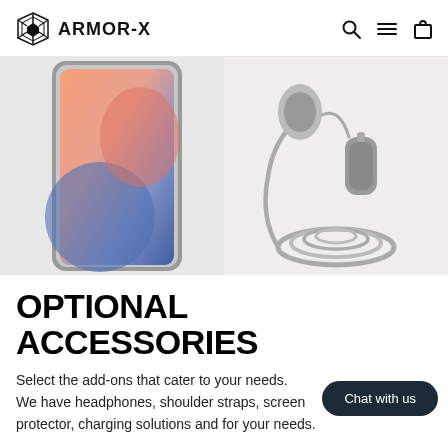ARMOR-X
[Figure (photo): Two product images side by side: left shows a smartphone (likely iPhone) with colorful abstract wallpaper, right shows earphones/headphones with coiled cable on a light background]
OPTIONAL ACCESSORIES
Select the add-ons that cater to your needs. We have headphones, shoulder straps, screen protector, charging solutions and for your needs.